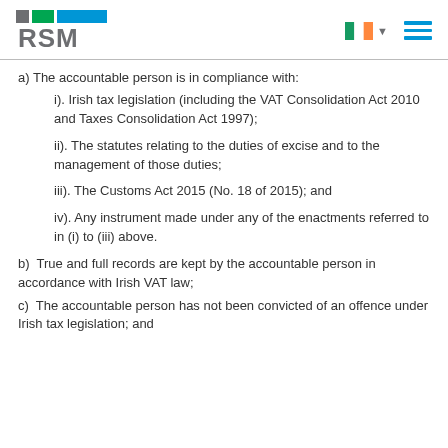RSM logo with Irish flag and menu icon
a) The accountable person is in compliance with:
i). Irish tax legislation (including the VAT Consolidation Act 2010 and Taxes Consolidation Act 1997);
ii). The statutes relating to the duties of excise and to the management of those duties;
iii). The Customs Act 2015 (No. 18 of 2015); and
iv). Any instrument made under any of the enactments referred to in (i) to (iii) above.
b)  True and full records are kept by the accountable person in accordance with Irish VAT law;
c)  The accountable person has not been convicted of an offence under Irish tax legislation; and